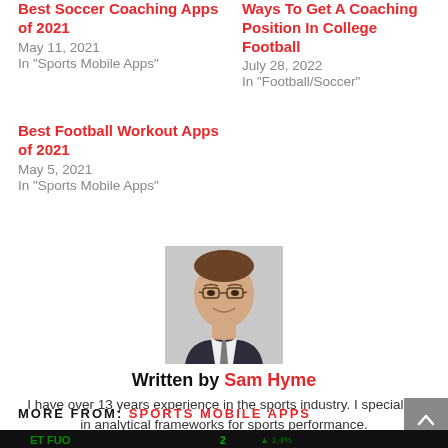Best Soccer Coaching Apps of 2021
May 11, 2021
In "Sports Mobile Apps"
Ways To Get A Coaching Position In College Football
July 28, 2022
In "Football/Soccer"
Best Football Workout Apps of 2021
May 5, 2021
In "Sports Mobile Apps"
[Figure (photo): Headshot photo of Sam Hyme, a man with glasses wearing a dark suit, smiling]
Written by Sam Hyme
I have over 13 years experience in the sports industry. I specialise in analytical frameworks for sports performance.
MORE FROM: SPORTS MOBILE APPS
[Figure (photo): Partial image at bottom of page showing green text on dark background, sports/stock themed]